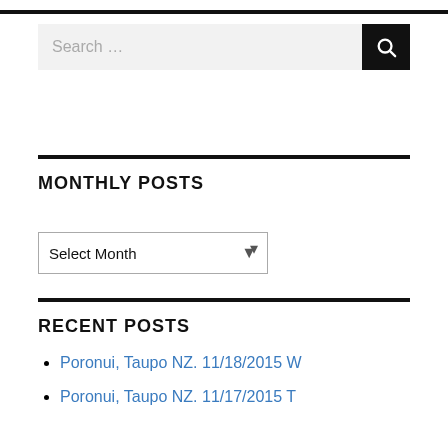Search …
MONTHLY POSTS
Select Month
RECENT POSTS
Poronui, Taupo NZ. 11/18/2015 W
Poronui, Taupo NZ. 11/17/2015 T